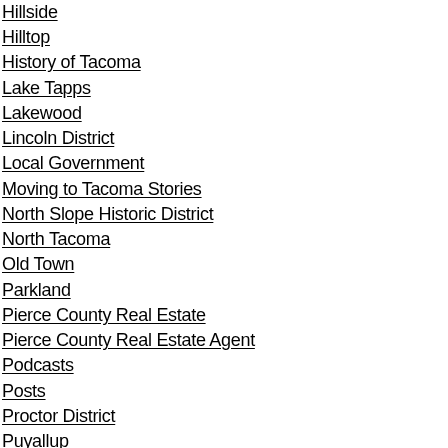Hillside
Hilltop
History of Tacoma
Lake Tapps
Lakewood
Lincoln District
Local Government
Moving to Tacoma Stories
North Slope Historic District
North Tacoma
Old Town
Parkland
Pierce County Real Estate
Pierce County Real Estate Agent
Podcasts
Posts
Proctor District
Puyallup
Restaurants
Ruston
Shopping